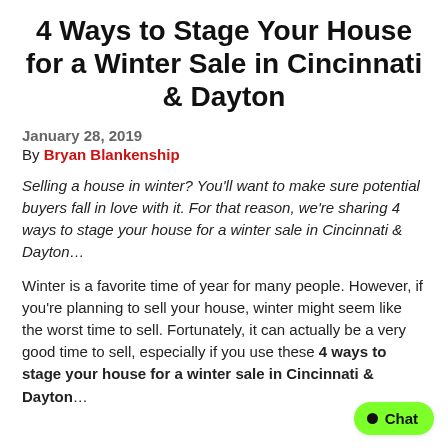4 Ways to Stage Your House for a Winter Sale in Cincinnati & Dayton
January 28, 2019
By Bryan Blankenship
Selling a house in winter? You’ll want to make sure potential buyers fall in love with it. For that reason, we’re sharing 4 ways to stage your house for a winter sale in Cincinnati & Dayton…
Winter is a favorite time of year for many people. However, if you’re planning to sell your house, winter might seem like the worst time to sell. Fortunately, it can actually be a very good time to sell, especially if you use these 4 ways to stage your house for a winter sale in Cincinnati & Dayton…